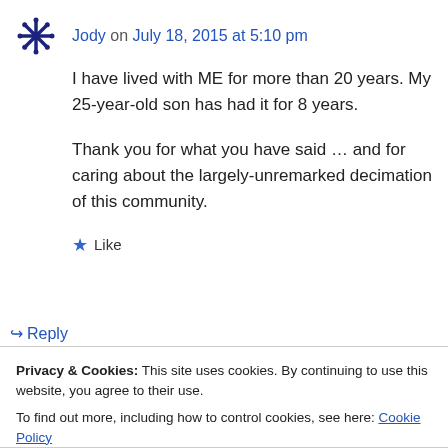Jody on July 18, 2015 at 5:10 pm
I have lived with ME for more than 20 years. My 25-year-old son has had it for 8 years.

Thank you for what you have said … and for caring about the largely-unremarked decimation of this community.
Like
Reply
Privacy & Cookies: This site uses cookies. By continuing to use this website, you agree to their use.
To find out more, including how to control cookies, see here: Cookie Policy
Close and accept
Facebook to ask how I might contact you to